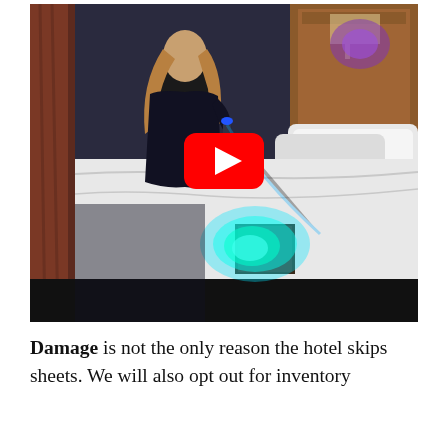[Figure (photo): YouTube video thumbnail showing a woman in a dark hotel room using a UV/blacklight flashlight to inspect hotel bed sheets. A bright cyan/teal glowing spot is visible on the white bed sheets where the UV light illuminates. A red YouTube play button is overlaid in the center of the image. The room has a wooden headboard, white pillows, and curtains visible in the background.]
Damage is not the only reason the hotel skips sheets. We will also opt out for inventory